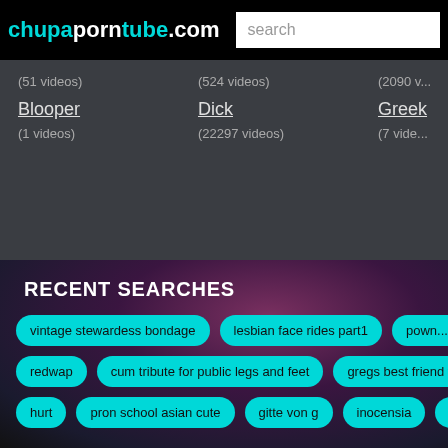chupaporntube.com
(51 videos)
(524 videos)
(2090 v...)
Blooper
(1 videos)
Dick
(22297 videos)
Greek...
(7 vide...)
RECENT SEARCHES
vintage stewardess bondage
lesbian face rides part1
pown...
redwap
cum tribute for public legs and feet
gregs best friend f...
hurt
pron school asian cute
gitte von g
inocensia
adri...